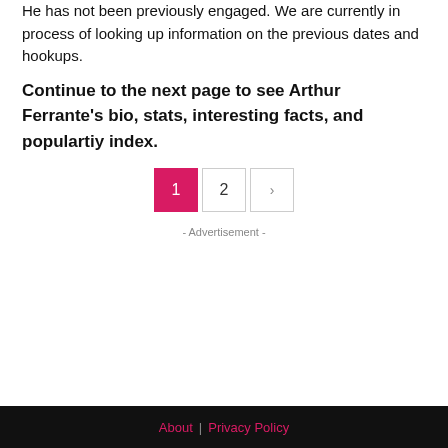He has not been previously engaged. We are currently in process of looking up information on the previous dates and hookups.
Continue to the next page to see Arthur Ferrante's bio, stats, interesting facts, and populartiy index.
Pagination: 1 (active), 2, > (next)
- Advertisement -
About | Privacy Policy